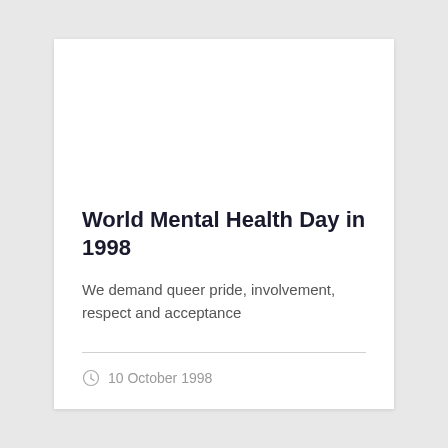World Mental Health Day in 1998
We demand queer pride, involvement, respect and acceptance
10 October 1998